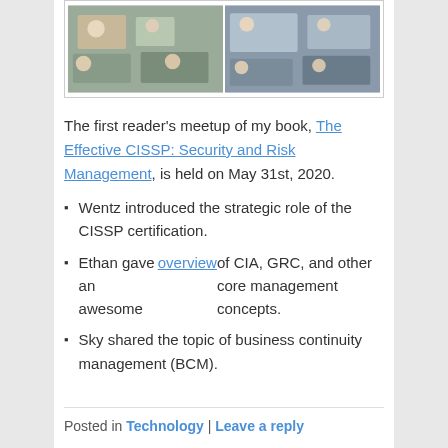[Figure (photo): Two side-by-side photos of a classroom/meetup event showing people seated at tables with masks on.]
The first reader's meetup of my book, The Effective CISSP: Security and Risk Management, is held on May 31st, 2020.
Wentz introduced the strategic role of the CISSP certification.
Ethan gave an awesome overview of CIA, GRC, and other core management concepts.
Sky shared the topic of business continuity management (BCM).
Posted in Technology | Leave a reply